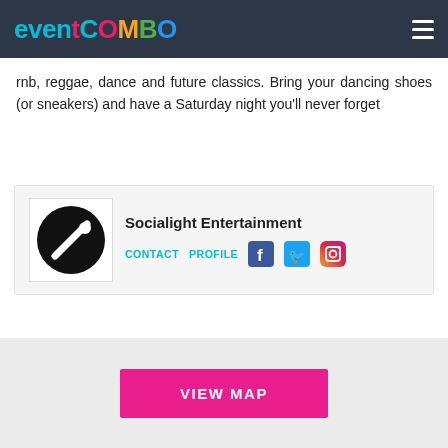Eventcombo
rnb, reggae, dance and future classics. Bring your dancing shoes (or sneakers) and have a Saturday night you'll never forget
Socialight Entertainment
CONTACT   PROFILE
Total: $0.00
VIEW MAP